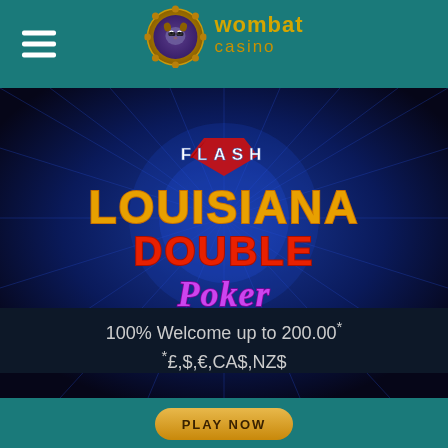[Figure (logo): Wombat Casino logo with golden chip icon and text 'wombat casino' in gold]
[Figure (screenshot): Flash Louisiana Double Poker game banner — dark blue radial burst background with gold and red 'FLASH LOUISIANA DOUBLE Poker' text logo]
100% Welcome up to 200.00*
*£,$,€,CA$,NZ$
PLAY NOW